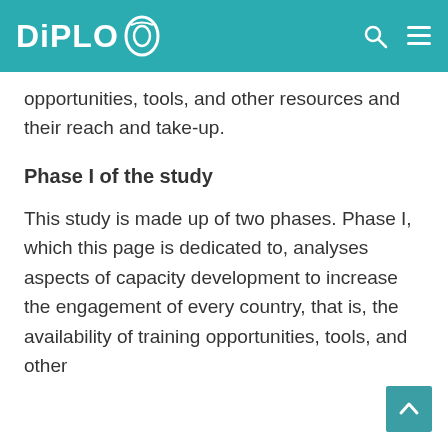DiPLO
opportunities, tools, and other resources and their reach and take-up.
Phase I of the study
This study is made up of two phases. Phase I, which this page is dedicated to, analyses aspects of capacity development to increase the engagement of every country, that is, the availability of training opportunities, tools, and other resources and their reach and take-up.